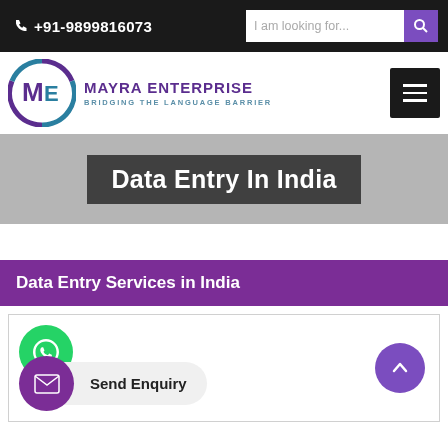☎ +91-9899816073 | I am looking for...
[Figure (logo): Mayra Enterprise logo — circular ME monogram in purple and teal]
MAYRA ENTERPRISE
BRIDGING THE LANGUAGE BARRIER
Data Entry In India
Data Entry Services in India
[Figure (illustration): WhatsApp green circle button icon]
[Figure (illustration): Purple scroll-to-top circle button with up chevron]
Send Enquiry